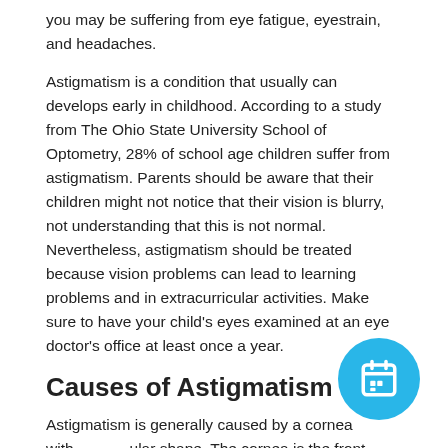you may be suffering from eye fatigue, eyestrain, and headaches.
Astigmatism is a condition that usually can develops early in childhood. According to a study from The Ohio State University School of Optometry, 28% of school age children suffer from astigmatism. Parents should be aware that their children might not notice that their vision is blurry, not understanding that this is not normal. Nevertheless, astigmatism should be treated because vision problems can lead to learning problems and in extracurricular activities. Make sure to have your child's eyes examined at an eye doctor's office at least once a year.
Causes of Astigmatism
Astigmatism is generally caused by a cornea with an irregular shape. The cornea is the front, clear layer of the eye. With astigmatism, the cornea is not round and spherical, but instead irregular having two curves instead of one curve. Astigmatism is a common and treatable eye condition.